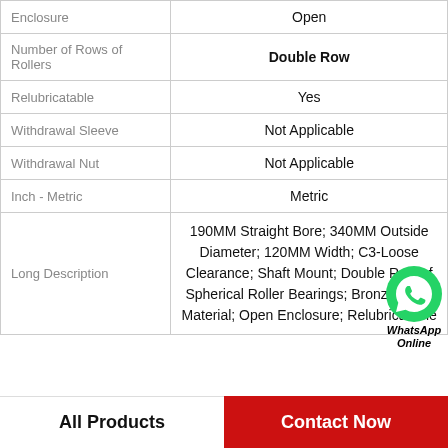| Property | Value |
| --- | --- |
| Enclosure | Open |
| Number of Rows of Rollers | Double Row |
| Relubricatable | Yes |
| Withdrawal Sleeve | Not Applicable |
| Withdrawal Nut | Not Applicable |
| Inch - Metric | Metric |
| Long Description | 190MM Straight Bore; 340MM Outside Diameter; 120MM Width; C3-Loose Clearance; Shaft Mount; Double Row of Spherical Roller Bearings; Bronze Cage Material; Open Enclosure; Relubricatable |
[Figure (logo): WhatsApp Online contact icon — green phone circle with WhatsApp Online text]
All Products
Contact Now